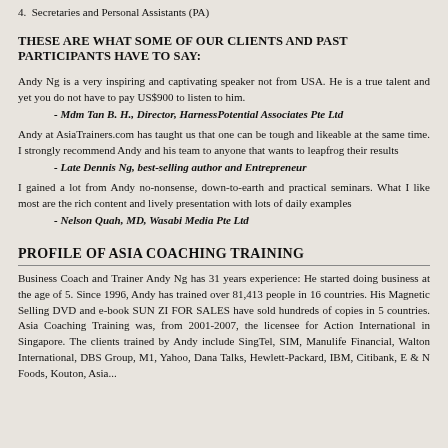4.  Secretaries and Personal Assistants (PA)
THESE ARE WHAT SOME OF OUR CLIENTS AND PAST PARTICIPANTS HAVE TO SAY:
Andy Ng is a very inspiring and captivating speaker not from USA. He is a true talent and yet you do not have to pay US$900 to listen to him.
- Mdm Tan B. H., Director, HarnessPotential Associates Pte Ltd
Andy at AsiaTrainers.com has taught us that one can be tough and likeable at the same time. I strongly recommend Andy and his team to anyone that wants to leapfrog their results
- Late Dennis Ng, best-selling author and Entrepreneur
I gained a lot from Andy no-nonsense, down-to-earth and practical seminars. What I like most are the rich content and lively presentation with lots of daily examples
- Nelson Quah, MD, Wasabi Media Pte Ltd
PROFILE OF ASIA COACHING TRAINING
Business Coach and Trainer Andy Ng has 31 years experience: He started doing business at the age of 5. Since 1996, Andy has trained over 81,413 people in 16 countries. His Magnetic Selling DVD and e-book SUN ZI FOR SALES have sold hundreds of copies in 5 countries. Asia Coaching Training was, from 2001-2007, the licensee for Action International in Singapore. The clients trained by Andy include SingTel, SIM, Manulife Financial, Walton International, DBS Group, M1, Yahoo, Dana Talks, Hewlett-Packard, IBM, Citibank, E & N Foods, Kouton, Asia...